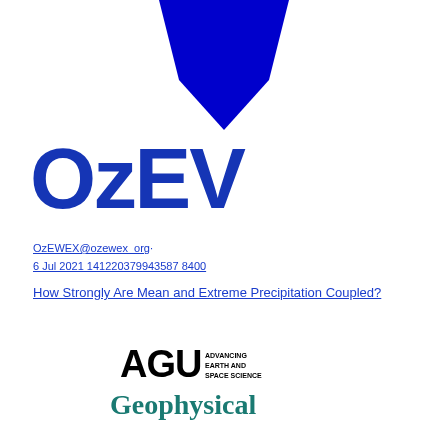[Figure (logo): Blue diamond/rhombus shape logo at the top center, partially cropped]
[Figure (logo): OzEV logo in dark blue bold text]
OzEWEX@ozewex_org · 6 Jul 2021 141220379943587 8400
How Strongly Are Mean and Extreme Precipitation Coupled?
[Figure (logo): AGU Advancing Earth and Space Science logo]
Geophysical